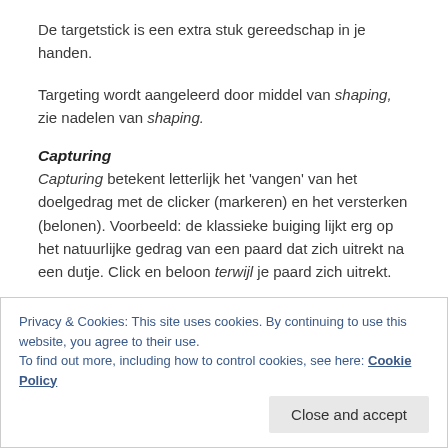De targetstick is een extra stuk gereedschap in je handen.
Targeting wordt aangeleerd door middel van shaping, zie nadelen van shaping.
Capturing
Capturing betekent letterlijk het 'vangen' van het doelgedrag met de clicker (markeren) en het versterken (belonen). Voorbeeld: de klassieke buiging lijkt erg op het natuurlijke gedrag van een paard dat zich uitrekt na een dutje. Click en beloon terwijl je paard zich uitrekt.
Voordelen van capturing
Het grootste voordeel is dat het een snelle manier is van iets nieuws aanleren, aangezien je paard het eindgedrag al
Privacy & Cookies: This site uses cookies. By continuing to use this website, you agree to their use.
To find out more, including how to control cookies, see here: Cookie Policy
Close and accept